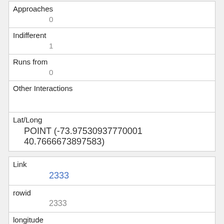| Approaches | 0 |
| Indifferent | 1 |
| Runs from | 0 |
| Other Interactions |  |
| Lat/Long | POINT (-73.97530937770001 40.7666673897583) |
| Link | 2333 |
| rowid | 2333 |
| longitude | -73.9771924901559 |
| latitude | 40.766672272947105 |
| Unique Squirrel ID | 15-PM-1007-01 |